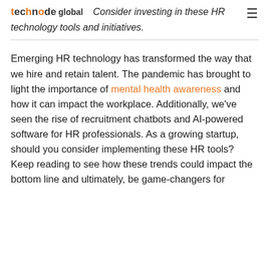technode global  Consider investing in these HR technology tools and initiatives.
Emerging HR technology has transformed the way that we hire and retain talent. The pandemic has brought to light the importance of mental health awareness and how it can impact the workplace. Additionally, we've seen the rise of recruitment chatbots and AI-powered software for HR professionals. As a growing startup, should you consider implementing these HR tools? Keep reading to see how these trends could impact the bottom line and ultimately, be game-changers for